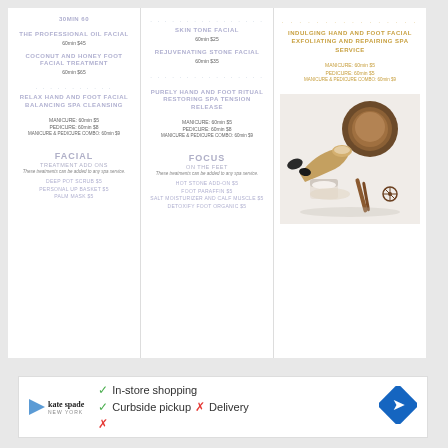Column 1: Spa services menu including professional facials, luxury hand and foot facial treatments, relaxing add-ons. Prices listed in Mins and $.
Column 2: Focus on the Face services including skin tone facial, rejuvenating stone facial. Prices listed.
Column 3: Indulging hand and foot facial, exfoliating and repairing spa service. Gold/yellow highlighted prices.
FACIAL TREATMENT ADD ONS
These treatments can be added to any spa service.
FOCUS ON THE FEET
These treatments can be added to any spa service.
[Figure (photo): Spa products: brushes, powder, clay, candles arranged on white surface]
[Figure (advertisement): Kate Spade ad with In-store shopping (check), Curbside pickup (check), Delivery (cross)]